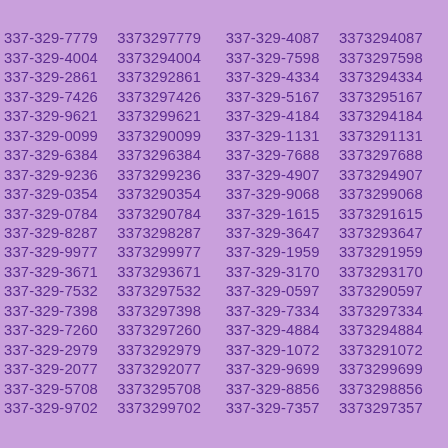337-329-7779 3373297779 337-329-4087 3373294087
337-329-4004 3373294004 337-329-7598 3373297598
337-329-2861 3373292861 337-329-4334 3373294334
337-329-7426 3373297426 337-329-5167 3373295167
337-329-9621 3373299621 337-329-4184 3373294184
337-329-0099 3373290099 337-329-1131 3373291131
337-329-6384 3373296384 337-329-7688 3373297688
337-329-9236 3373299236 337-329-4907 3373294907
337-329-0354 3373290354 337-329-9068 3373299068
337-329-0784 3373290784 337-329-1615 3373291615
337-329-8287 3373298287 337-329-3647 3373293647
337-329-9977 3373299977 337-329-1959 3373291959
337-329-3671 3373293671 337-329-3170 3373293170
337-329-7532 3373297532 337-329-0597 3373290597
337-329-7398 3373297398 337-329-7334 3373297334
337-329-7260 3373297260 337-329-4884 3373294884
337-329-2979 3373292979 337-329-1072 3373291072
337-329-2077 3373292077 337-329-9699 3373299699
337-329-5708 3373295708 337-329-8856 3373298856
337-329-9702 3373299702 337-329-7357 3373297357